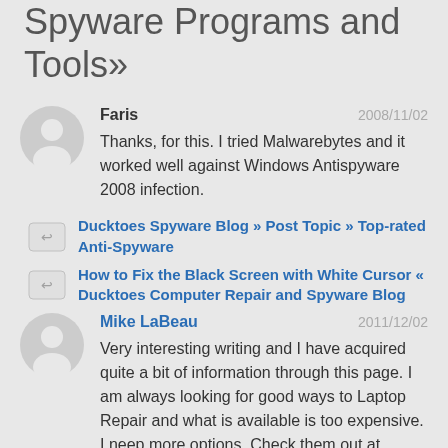Spyware Programs and Tools»
Faris
2008/11/02
Thanks, for this. I tried Malwarebytes and it worked well against Windows Antispyware 2008 infection.
Ducktoes Spyware Blog » Post Topic » Top-rated Anti-Spyware
How to Fix the Black Screen with White Cursor « Ducktoes Computer Repair and Spyware Blog
Mike LaBeau
2011/12/02
Very interesting writing and I have acquired quite a bit of information through this page. I am always looking for good ways to Laptop Repair and what is available is too expensive. I neep more options. Check them out at http://www.thelaptopspecialist.co.uk/. You got